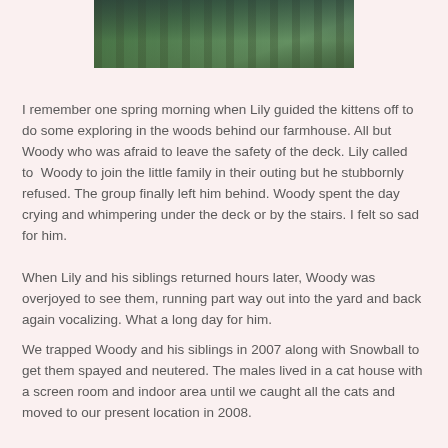[Figure (photo): Outdoor photo showing a wooded area with green trees and wooden fence posts or deck structure, cropped at top of page]
I remember one spring morning when Lily guided the kittens off to do some exploring in the woods behind our farmhouse. All but Woody who was afraid to leave the safety of the deck. Lily called to  Woody to join the little family in their outing but he stubbornly refused. The group finally left him behind. Woody spent the day crying and whimpering under the deck or by the stairs. I felt so sad for him.
When Lily and his siblings returned hours later, Woody was overjoyed to see them, running part way out into the yard and back again vocalizing. What a long day for him.
We trapped Woody and his siblings in 2007 along with Snowball to get them spayed and neutered. The males lived in a cat house with a screen room and indoor area until we caught all the cats and moved to our present location in 2008.